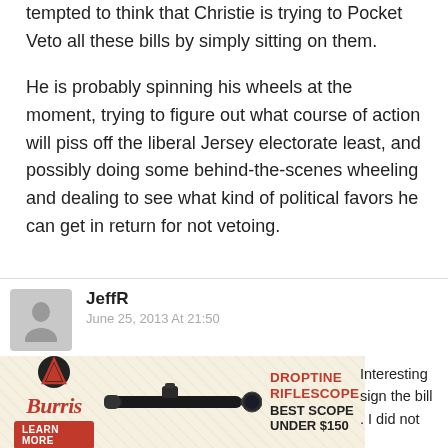tempted to think that Christie is trying to Pocket Veto all these bills by simply sitting on them.
He is probably spinning his wheels at the moment, trying to figure out what course of action will piss off the liberal Jersey electorate least, and possibly doing some behind-the-scenes wheeling and dealing to see what kind of political favors he can get in return for not vetoing.
JeffR
June 25, 2013 At 21:50
[Figure (other): Burris Droptine Riflescope advertisement with scope image, logo, and text: DROPTINE RIFLESCOPE BEST SCOPE UNDER $150, LEARN MORE button]
Interesting sign the bill . I did not